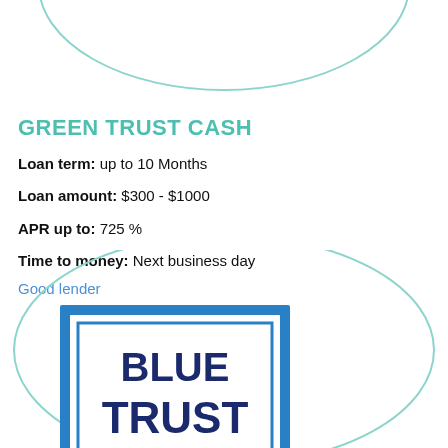[Figure (illustration): Teal/blue ellipse outline arc visible at top of page]
GREEN TRUST CASH
Loan term: up to 10 Months
Loan amount: $300 - $1000
APR up to: 725 %
Time to money: Next business day
Good lender
[Figure (illustration): Teal/blue ellipse outline in lower half of page]
[Figure (logo): Blue Trust Loans logo — white box with blue border, text: BLUE TRUST LOANS in navy/dark blue bold font]